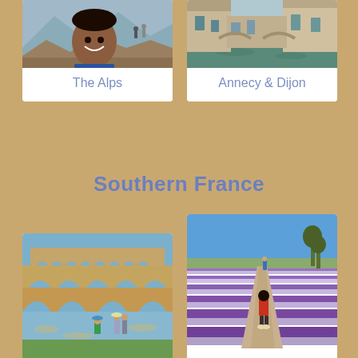[Figure (photo): Smiling woman selfie in The Alps with hikers in background]
The Alps
[Figure (photo): Canal scene in Annecy or Dijon, France with old buildings]
Annecy & Dijon
Southern France
[Figure (photo): Pont du Gard Roman aqueduct with people wading in river below]
Nimes & Pont du Gard
[Figure (photo): Lavender field in Provence with child in red shirt walking along path]
Lavender & Gorge du Verdon